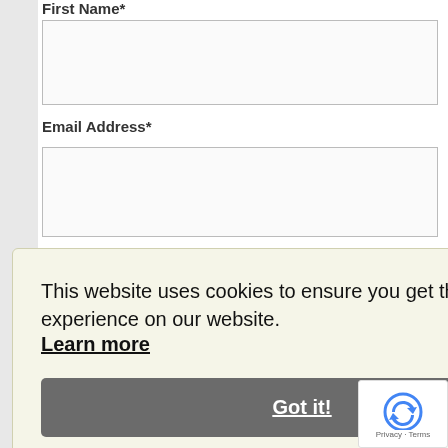First Name*
[Figure (screenshot): Text input field for First Name]
Email Address*
[Figure (screenshot): Text input field for Email Address]
[Figure (screenshot): Green submit button labeled YES, SEN...]
We won't send you spam. Protection of the information you according to our Privacy Policy. You
Powered by Co
This website uses cookies to ensure you get the best experience on our website. Learn more Got it!